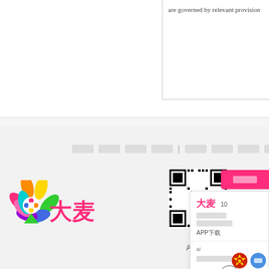are governed by relevant provision
[Figure (logo): Damai (大麦) colorful flower logo with Chinese text and QR code for APP download, with popup card showing 大麦 branding and navigation controls]
□□□□ | □□□□ | □□□
大麦
APP□□
大麦
APP□□
□□□□